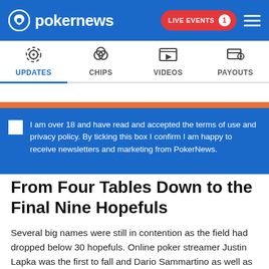pokernews — LIVE EVENTS 1
UPDATES | CHIPS | VIDEOS | PAYOUTS
I am over 18 and have read and accepted the terms of use and privacy policy. By ticking this box I confirm I am happy to receive newsletters and marketing from PokerNews.
From Four Tables Down to the Final Nine Hopefuls
Several big names were still in contention as the field had dropped below 30 hopefuls. Online poker streamer Justin Lapka was the first to fall and Dario Sammartino as well as Dimitar Danchev followed in quick succession. Danchev saw his aces cracked by pocket fours and had to settle for 25th